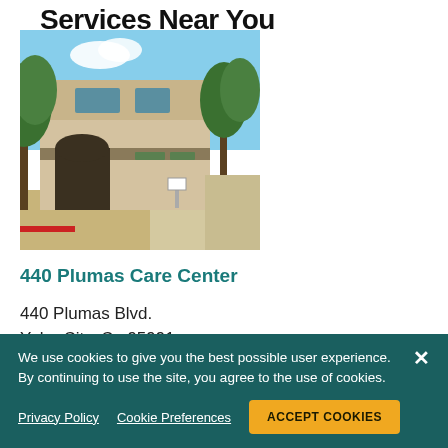Services Near You
[Figure (photo): Exterior photo of 440 Plumas Care Center building — a two-story beige/tan commercial building with green trees in front, blue sky background, and a walkway along the side.]
440 Plumas Care Center
440 Plumas Blvd.
Yuba City, Ca 95991
We use cookies to give you the best possible user experience. By continuing to use the site, you agree to the use of cookies.

Privacy Policy    Cookie Preferences    ACCEPT COOKIES